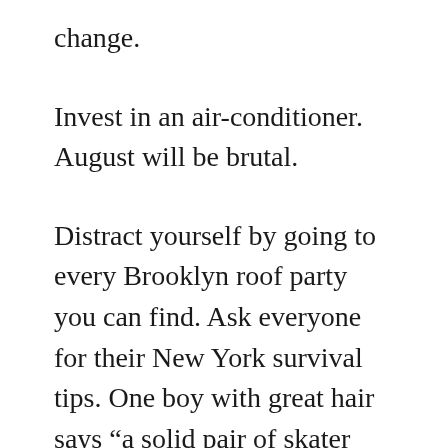change.
Invest in an air-conditioner. August will be brutal.
Distract yourself by going to every Brooklyn roof party you can find. Ask everyone for their New York survival tips. One boy with great hair says “a solid pair of skater shoes” ‘cause they’re so durable to the constant new relationship of your feet to concrete. A German girl who’s lived here ten years says, “an expensive, fancy pair of headphones” that she puts on